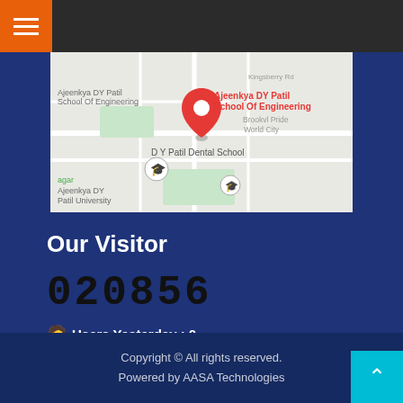[Figure (screenshot): Top navigation bar with dark background and orange hamburger menu button on the left]
[Figure (map): Google Maps screenshot showing Ajeenkya DY Patil School Of Engineering location with a red map pin, surrounded by nearby locations including D Y Patil Dental School, Ajeenkya DY Patil University, and Brookville Pride World City]
Our Visitor
020856
Users Yesterday : 0
Users Last 30 days : 156
Copyright © All rights reserved.
Powered by AASA Technologies